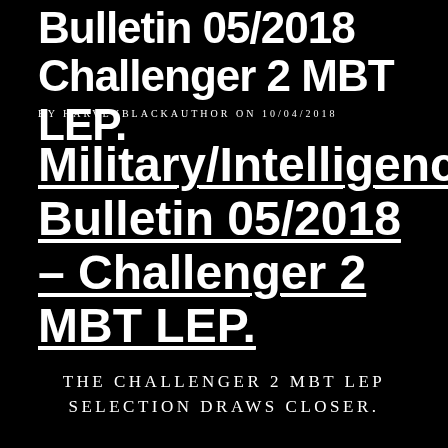Bulletin 05/2018 Challenger 2 MBT LEP.
BY HARVEYBLACKAUTHOR ON 10/04/2018
Military/Intelligence Bulletin 05/2018 – Challenger 2 MBT LEP.
THE CHALLENGER 2 MBT LEP SELECTION DRAWS CLOSER.